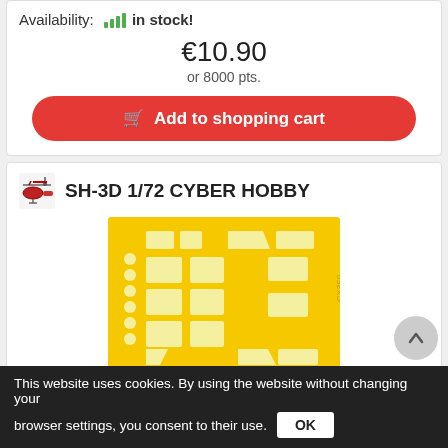Availability: in stock!
€10.90
or 8000 pts.
Add to shopping cart
SH-3D 1/72 CYBER HOBBY
[Figure (photo): Yellow masking sheet product image labeled CX359]
Scale: 1:72
Manufacturer: Eduard
Product code: eduCX359
Availability: in stock!
This website uses cookies. By using the website without changing your browser settings, you consent to their use. OK